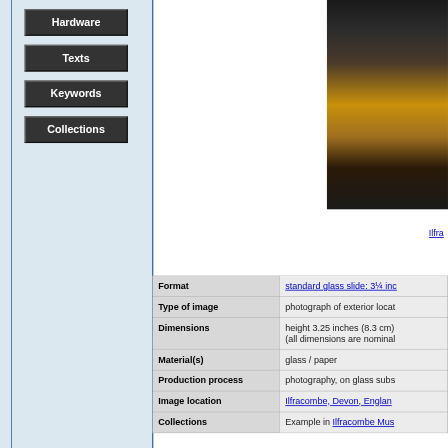Hardware
Texts
Keywords
Collections
[Figure (photo): Partial view of a framed photograph showing people in an exterior location, mounted on an orange/brown mat board, with dark frame border visible.]
Ilfra...
| Field | Value |
| --- | --- |
| Format | standard glass slide: 3¼ inc... |
| Type of image | photograph of exterior locat... |
| Dimensions | height 3.25 inches (8.3 cm)... (all dimensions are nominal... |
| Material(s) | glass / paper |
| Production process | photography, on glass subs... |
| Image location | Ilfracombe, Devon, Englan... |
| Collections | Example in Ilfracombe Mus... |